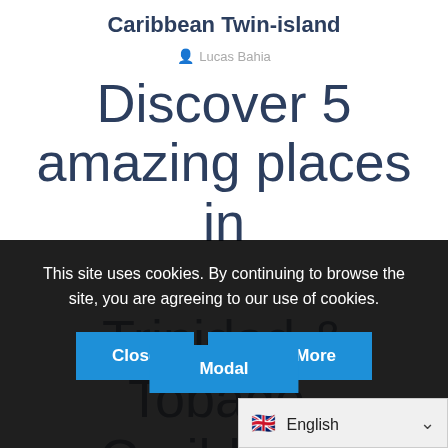Caribbean Twin-island
Lucas Bahia
Discover 5 amazing places in Trinidad & Tobago, Caribbean Twin-island
This site uses cookies. By continuing to browse the site, you are agreeing to our use of cookies.
Close
Learn More
Modal
English